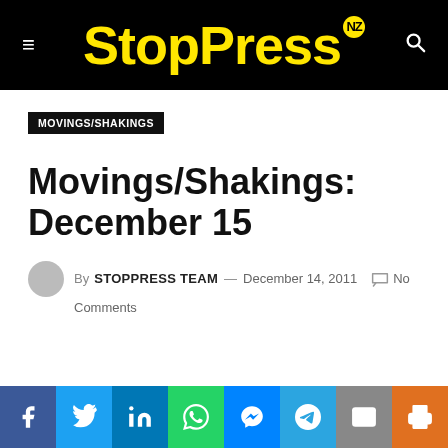StopPress NZ
MOVINGS/SHAKINGS
Movings/Shakings: December 15
By STOPPRESS TEAM — December 14, 2011  No Comments
Social share bar: Facebook, Twitter, LinkedIn, WhatsApp, Messenger, Telegram, Email, Print